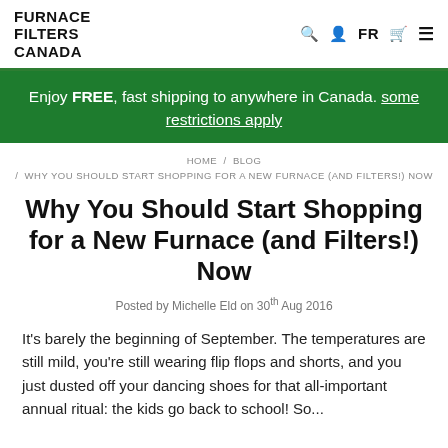FURNACE FILTERS CANADA
Enjoy FREE, fast shipping to anywhere in Canada. some restrictions apply
HOME / BLOG / WHY YOU SHOULD START SHOPPING FOR A NEW FURNACE (AND FILTERS!) NOW
Why You Should Start Shopping for a New Furnace (and Filters!) Now
Posted by Michelle Eld on 30th Aug 2016
It's barely the beginning of September. The temperatures are still mild, you're still wearing flip flops and shorts, and you just dusted off your dancing shoes for that all-important annual ritual: the kids go back to school! So...